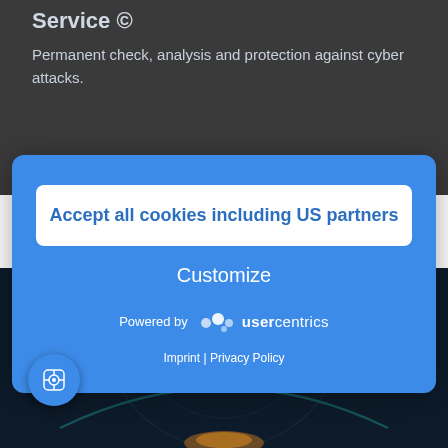Service ©
Permanent check, analysis and protection against cyber attacks.
[Figure (screenshot): Cookie consent modal overlay on a cybersecurity website. Blue modal with 'Accept all cookies including US partners' button, 'Customize' link, Usercentrics branding, and Imprint | Privacy Policy footer links. Background shows a dark cybersecurity themed graphic with circuit/gear illustrations.]
Accept all cookies including US partners
Customize
Powered by usercentrics
Imprint | Privacy Policy